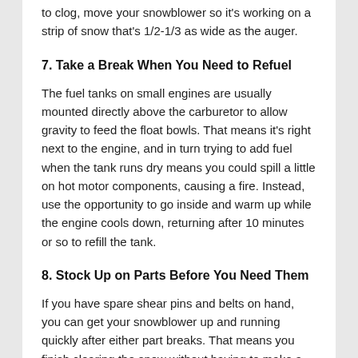to clog, move your snowblower so it's working on a strip of snow that's 1/2-1/3 as wide as the auger.
7. Take a Break When You Need to Refuel
The fuel tanks on small engines are usually mounted directly above the carburetor to allow gravity to feed the float bowls. That means it's right next to the engine, and in turn trying to add fuel when the tank runs dry means you could spill a little on hot motor components, causing a fire. Instead, use the opportunity to go inside and warm up while the engine cools down, returning after 10 minutes or so to refill the tank.
8. Stock Up on Parts Before You Need Them
If you have spare shear pins and belts on hand, you can get your snowblower up and running quickly after either part breaks. That means you finish clearing the snow without having to make a trip to the local repair shop, or worse, waiting for it to open. If you have a Honda snowblower, you can get everything you need from www.hondalawnparts.com. We're a certified Honda